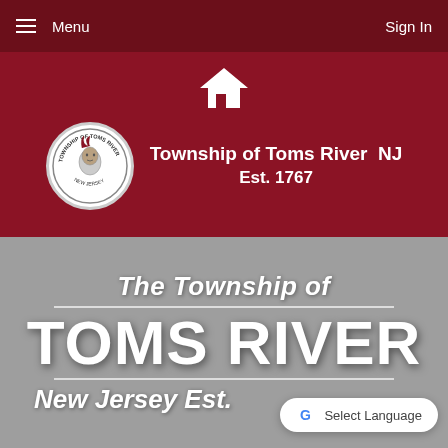Menu  Sign In
[Figure (logo): Township of Toms River NJ circular seal with Native American profile, white house icon above]
Township of Toms River NJ  Est. 1767
The Township of TOMS RIVER New Jersey Est.
[Figure (other): Google Translate Select Language button overlay]